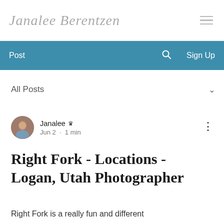Janalee Berentzen
Post  Sign Up
All Posts
Janalee  Jun 2 · 1 min
Right Fork - Locations - Logan, Utah Photographer
Right Fork is a really fun and different